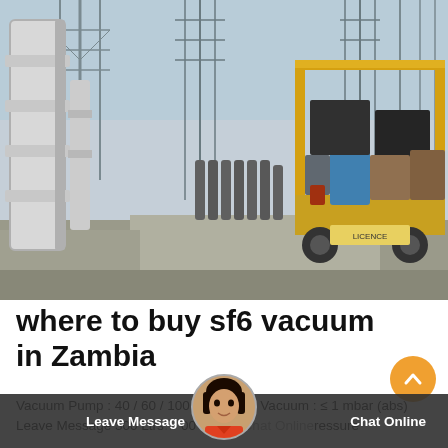[Figure (photo): Outdoor electrical substation with large pipe infrastructure on the left and a yellow truck/service vehicle loaded with equipment on the right. Gas cylinders visible in the background. Industrial setting.]
where to buy sf6 vacuum in Zambia
Vacuum Pump : 40 / 60 / 100… Ultimate Vacuum : ≤ 1 mbar (abs)  Leave Message 300 Ltrs… 00 Ltrs. St Chat Online pressure 25 . 50 Bar. Filter Fineness . S t…